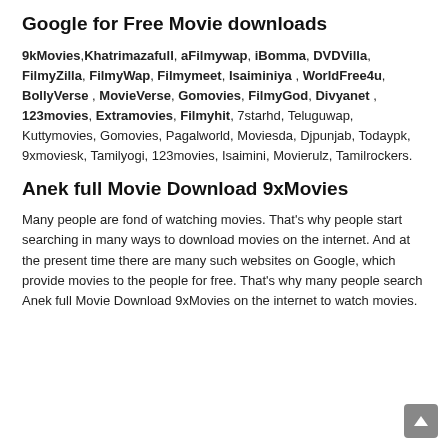Google for Free Movie downloads
9kMovies,Khatrimazafull, aFilmywap, iBomma, DVDVilla, FilmyZilla, FilmyWap, Filmymeet, Isaiminiya , WorldFree4u, BollyVerse , MovieVerse, Gomovies, FilmyGod, Divyanet , 123movies, Extramovies, Filmyhit, 7starhd, Teluguwap, Kuttymovies, Gomovies, Pagalworld, Moviesda, Djpunjab, Todaypk, 9xmoviesk, Tamilyogi, 123movies, Isaimini, Movierulz, Tamilrockers.
Anek full Movie Download 9xMovies
Many people are fond of watching movies. That’s why people start searching in many ways to download movies on the internet. And at the present time there are many such websites on Google, which provide movies to the people for free. That’s why many people search Anek full Movie Download 9xMovies on the internet to watch movies.